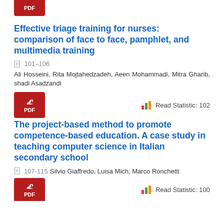[Figure (other): Red PDF download button at top of page]
Effective triage training for nurses: comparison of face to face, pamphlet, and multimedia training
101–106
Ali Hosseini, Rita Mojtahedzadeh, Aeen Mohammadi, Mitra Gharib, shadi Asadzandi
[Figure (other): Red PDF download button]
Read Statistic: 102
The project-based method to promote competence-based education. A case study in teaching computer science in Italian secondary school
107-115 Silvio Giaffredo, Luisa Mich, Marco Ronchetti
[Figure (other): Red PDF download button at bottom]
Read Statistic: 100